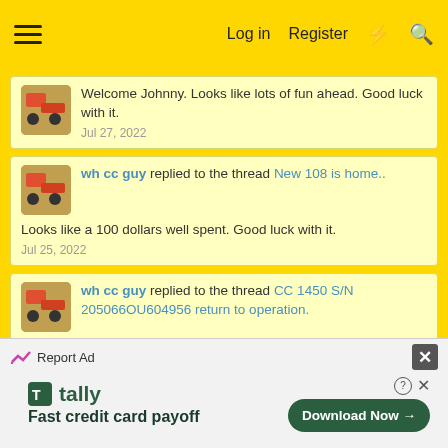Log in  Register
Welcome Johnny. Looks like lots of fun ahead. Good luck with it.
Jul 27, 2022
wh cc guy replied to the thread New 108 is home..
Looks like a 100 dollars well spent. Good luck with it.
Jul 25, 2022
wh cc guy replied to the thread CC 1450 S/N 205066OU604956 return to operation.
Welcome. Looks like you have a good start, Good luck with it.
Jul 25, 2022
Show older items
Report Ad  Fast credit card payoff  Download Now